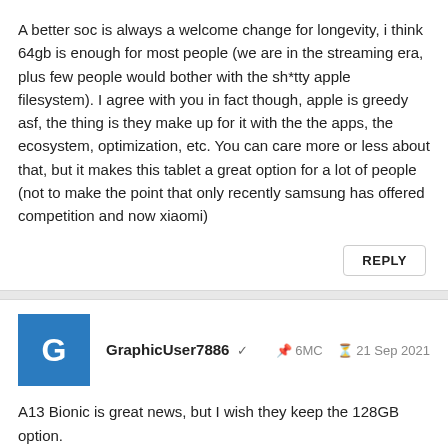A better soc is always a welcome change for longevity, i think 64gb is enough for most people (we are in the streaming era, plus few people would bother with the sh*tty apple filesystem). I agree with you in fact though, apple is greedy asf, the thing is they make up for it with the the apps, the ecosystem, optimization, etc. You can care more or less about that, but it makes this tablet a great option for a lot of people (not to make the point that only recently samsung has offered competition and now xiaomi)
REPLY
GraphicUser7886 ✓  6MC  21 Sep 2021
A13 Bionic is great news, but I wish they keep the 128GB option.
REPLY